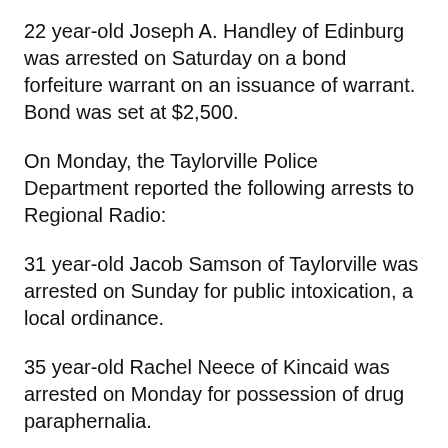22 year-old Joseph A. Handley of Edinburg was arrested on Saturday on a bond forfeiture warrant on an issuance of warrant. Bond was set at $2,500.
On Monday, the Taylorville Police Department reported the following arrests to Regional Radio:
31 year-old Jacob Samson of Taylorville was arrested on Sunday for public intoxication, a local ordinance.
35 year-old Rachel Neece of Kincaid was arrested on Monday for possession of drug paraphernalia.
21 year-old Cory L. Blake of Taylorville was arrested on Saturday for disorderly conduct.
28 year-old Natasha J. Lee of Decatur was arrested on